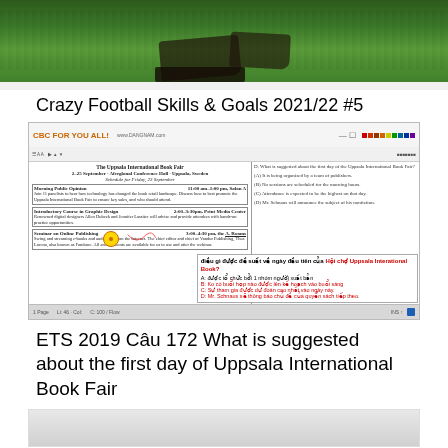[Figure (photo): Close-up photo of a football/soccer player's feet on green grass]
Crazy Football Skills & Goals 2021/22 #5
[Figure (screenshot): Screenshot of a document editor (CBC FOR YOU ALL) showing The Uppsala International Book Fair conference schedule, with Vietnamese language annotations highlighting question about the first day of the Uppsala International Book Fair, multiple choice answers A-D in red text]
ETS 2019 Câu 172 What is suggested about the first day of Uppsala International Book Fair